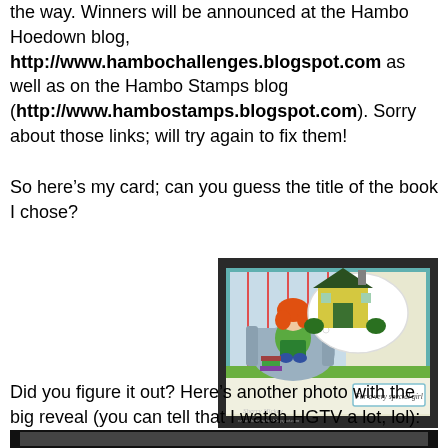the way. Winners will be announced at the Hambo Hoedown blog, http://www.hambochallenges.blogspot.com as well as on the Hambo Stamps blog (http://www.hambostamps.blogspot.com). Sorry about those links; will try again to fix them!
So here's my card; can you guess the title of the book I chose?
[Figure (photo): A handmade greeting card showing a cartoon red-haired girl sitting in a blue armchair reading a green book, with a thought bubble showing a yellow and green house. Text on card reads 'For a very special girl'. Books stacked on the floor. Signed Sherry Hickey.]
Did you figure it out? Here's another photo with the big reveal (you can tell that I watch HGTV a lot, lol):
[Figure (photo): Partially visible image at bottom of page, another photo related to the card reveal.]